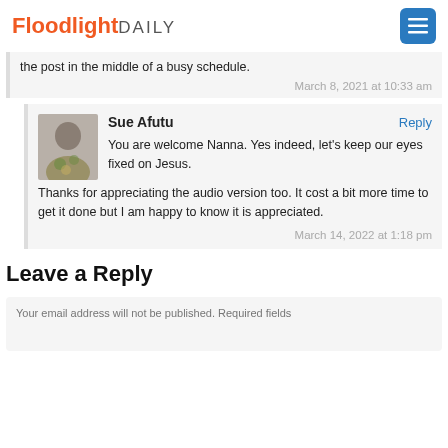FloodlightDAILY
the post in the middle of a busy schedule.
March 8, 2021 at 10:33 am
Sue Afutu
Reply
You are welcome Nanna. Yes indeed, let's keep our eyes fixed on Jesus.
Thanks for appreciating the audio version too. It cost a bit more time to get it done but I am happy to know it is appreciated.
March 14, 2022 at 1:18 pm
Leave a Reply
Your email address will not be published. Required fields